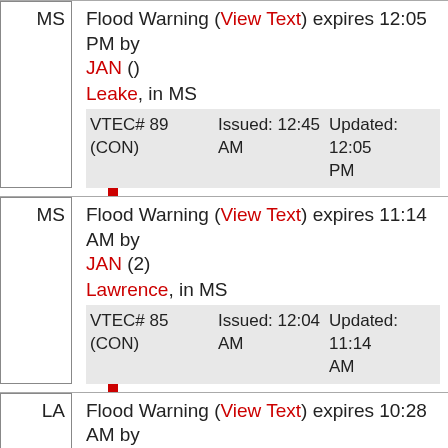MS Flood Warning (View Text) expires 12:05 PM by JAN () Leake, in MS VTEC# 89 (CON) Issued: 12:45 AM Updated: 12:05 PM
MS Flood Warning (View Text) expires 11:14 AM by JAN (2) Lawrence, in MS VTEC# 85 (CON) Issued: 12:04 AM Updated: 11:14 AM
LA Flood Warning (View Text) expires 10:28 AM by JAN (2) Franklin, in LA VTEC# 79 (EXT) Issued: 11:54 PM Updated: 10:28 AM